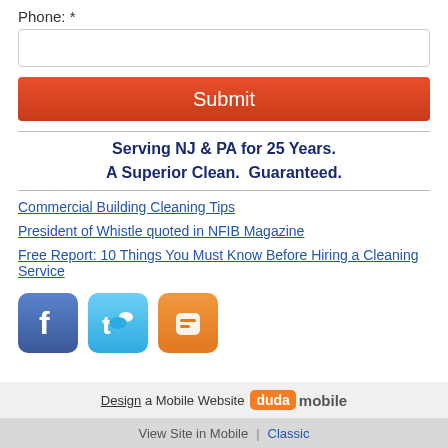Phone: *
Submit
Serving NJ & PA for 25 Years.
A Superior Clean.  Guaranteed.
Commercial Building Cleaning Tips
President of Whistle quoted in NFIB Magazine
Free Report: 10 Things You Must Know Before Hiring a Cleaning Service
[Figure (logo): Facebook, Twitter, and Blogger social media icons]
Design a Mobile Website  duda mobile
View Site in Mobile  |  Classic